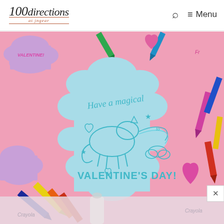100directions at jmgear — Search, Menu
[Figure (photo): A unicorn coloring valentine card that reads 'Have a magical VALENTINE'S DAY!' surrounded by crayons and glitter hearts on a pink background. Multiple pastel cloud-shaped valentine cards are visible around the edges.]